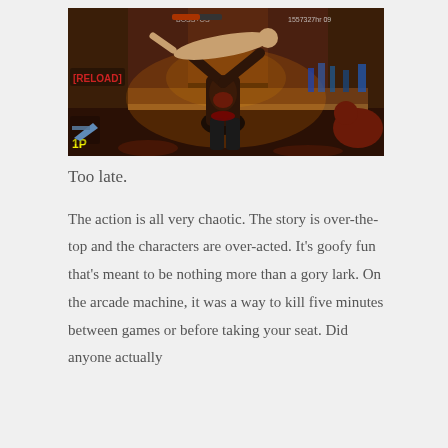[Figure (screenshot): Screenshot of a video game showing a muscular shirtless character holding another person overhead in a bar setting. HUD elements visible including '[RELOAD]' text in red on the left, '1P' indicator at bottom left, and a health/status bar. The scene is dark and violent in tone.]
Too late.
The action is all very chaotic. The story is over-the-top and the characters are over-acted. It's goofy fun that's meant to be nothing more than a gory lark. On the arcade machine, it was a way to kill five minutes between games or before taking your seat. Did anyone actually